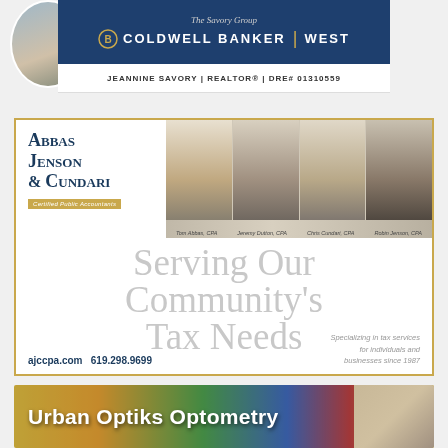[Figure (other): Coldwell Banker West real estate ad with headshot of Jeannine Savory and dark blue banner]
JEANNINE SAVORY | REALTOR® | DRE# 01310559
[Figure (other): Abbas Jenson & Cundari Certified Public Accountants advertisement with four CPAs photos and tagline 'Serving Our Community's Tax Needs']
Tom Abbas, CPA   Jeremy Dutton, CPA   Chris Cundari, CPA   Robin Jenson, CPA
Serving Our Community's Tax Needs
ajccpa.com  619.298.9699
Specializing in tax services for individuals and businesses since 1987
[Figure (other): Urban Optiks Optometry advertisement with colorful graffiti wall background and man wearing sunglasses]